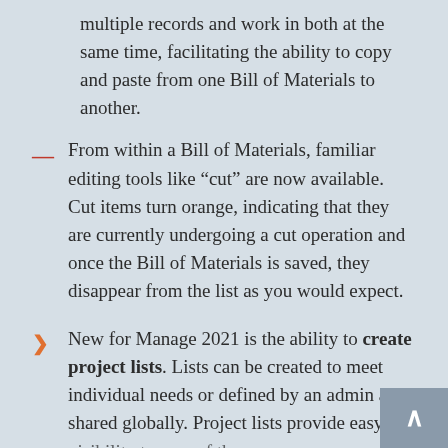multiple records and work in both at the same time, facilitating the ability to copy and paste from one Bill of Materials to another.
From within a Bill of Materials, familiar editing tools like “cut” are now available. Cut items turn orange, indicating that they are currently undergoing a cut operation and once the Bill of Materials is saved, they disappear from the list as you would expect.
New for Manage 2021 is the ability to create project lists. Lists can be created to meet individual needs or defined by an admin and shared globally. Project lists provide easy visibility to area of the area.